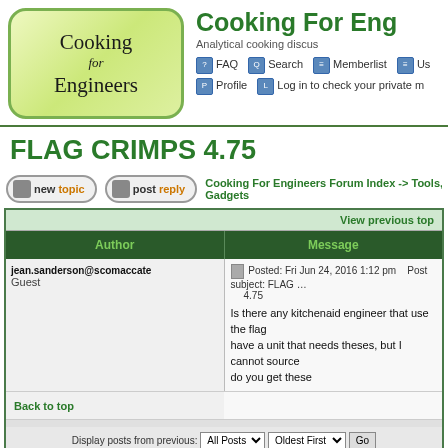[Figure (logo): Cooking for Engineers logo — rounded rectangle with gradient green background, text 'Cooking for Engineers' in serif font]
Cooking For Eng... | Analytical cooking discus...
FLAG CRIMPS 4.75
newtopic  postreply  Cooking For Engineers Forum Index -> Tools, Gadgets
| Author | Message |
| --- | --- |
| jean.sanderson@scomaccate
Guest | Posted: Fri Jun 24, 2016 1:12 pm   Post subject: FLAG ... 4.75

Is there any kitchenaid engineer that use the flag... have a unit that needs theses, but I cannot source... do you get these |
Back to top
Display posts from previous:  All Posts  Oldest First  Go